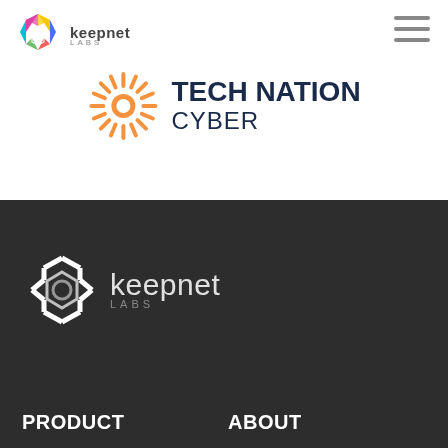[Figure (logo): Keepnet Labs logo with colorful hexagonal icon and text 'keepnet LABS' in dark grey]
[Figure (logo): Hamburger menu icon (three horizontal dark grey lines)]
[Figure (logo): Tech Nation Cyber logo: orange sunburst/gear icon with bold dark navy text 'TECH NATION CYBER']
[Figure (logo): Keepnet Labs logo in white/grey on dark background with hexagonal icon and text 'keepnet LABS']
PRODUCT
ABOUT